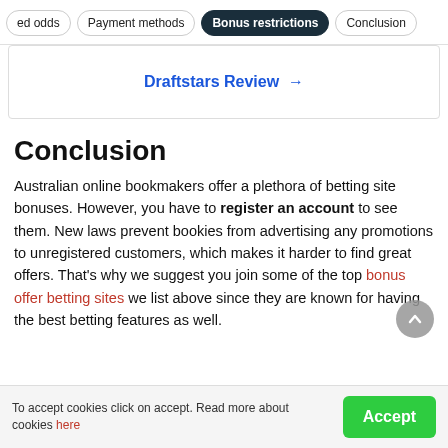ed odds | Payment methods | Bonus restrictions | Conclusion
Draftstars Review →
Conclusion
Australian online bookmakers offer a plethora of betting site bonuses. However, you have to register an account to see them. New laws prevent bookies from advertising any promotions to unregistered customers, which makes it harder to find great offers. That's why we suggest you join some of the top bonus offer betting sites we list above since they are known for having the best betting features as well.
To accept cookies click on accept. Read more about cookies here